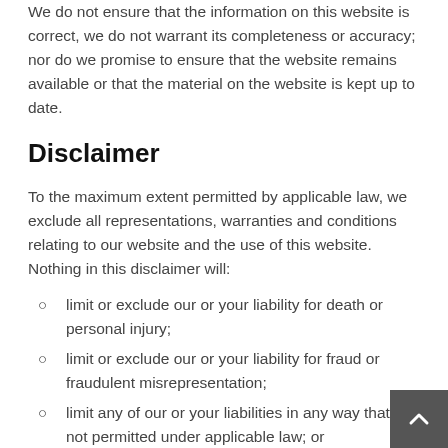We do not ensure that the information on this website is correct, we do not warrant its completeness or accuracy; nor do we promise to ensure that the website remains available or that the material on the website is kept up to date.
Disclaimer
To the maximum extent permitted by applicable law, we exclude all representations, warranties and conditions relating to our website and the use of this website. Nothing in this disclaimer will:
limit or exclude our or your liability for death or personal injury;
limit or exclude our or your liability for fraud or fraudulent misrepresentation;
limit any of our or your liabilities in any way that is not permitted under applicable law; or
exclude any of our or your liabilities that may not